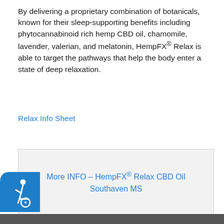By delivering a proprietary combination of botanicals, known for their sleep-supporting benefits including phytocannabinoid rich hemp CBD oil, chamomile, lavender, valerian, and melatonin, HempFX® Relax is able to target the pathways that help the body enter a state of deep relaxation.
Relax Info Sheet
More INFO – HempFX® Relax CBD Oil Southaven MS
[Figure (illustration): Accessibility icon: blue rounded button with wheelchair user symbol]